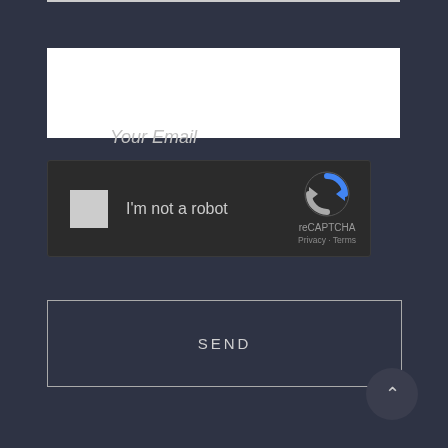Your Email
[Figure (screenshot): reCAPTCHA widget with checkbox labeled 'I'm not a robot', reCAPTCHA logo, Privacy and Terms links]
SEND
[Figure (illustration): Scroll to top button with upward caret arrow]